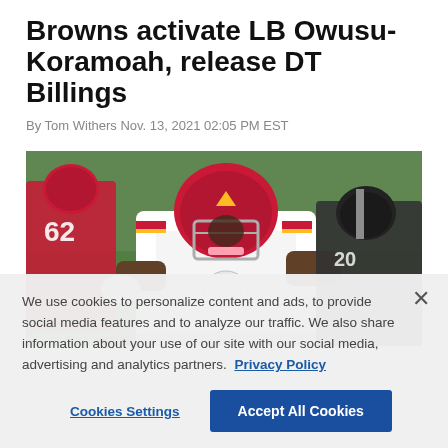Browns activate LB Owusu-Koramoah, release DT Billings
By Tom Withers Nov. 13, 2021 02:05 PM EST
[Figure (photo): NFL football player in Kansas City Chiefs red helmet and white uniform running with the ball, with Raiders player in dark uniform in background and another Chiefs player #62 visible]
We use cookies to personalize content and ads, to provide social media features and to analyze our traffic. We also share information about your use of our site with our social media, advertising and analytics partners. Privacy Policy
Cookies Settings | Accept All Cookies